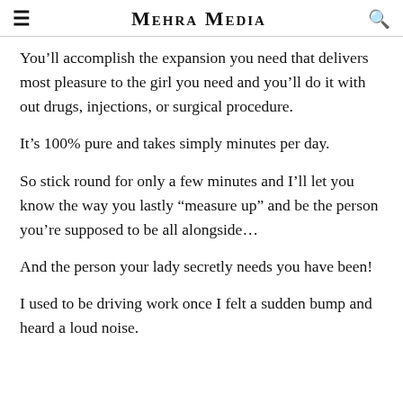Mehra Media
You’ll accomplish the expansion you need that delivers most pleasure to the girl you need and you’ll do it with out drugs, injections, or surgical procedure.
It’s 100% pure and takes simply minutes per day.
So stick round for only a few minutes and I’ll let you know the way you lastly “measure up” and be the person you’re supposed to be all alongside…
And the person your lady secretly needs you have been!
I used to be driving work once I felt a sudden bump and heard a loud noise.